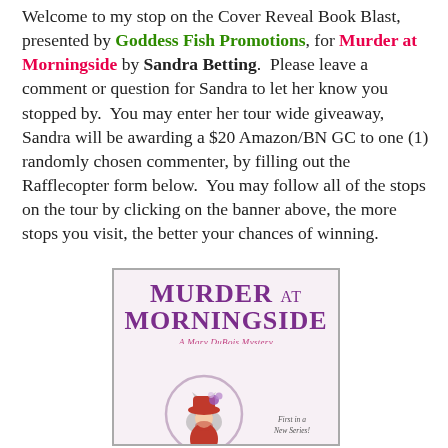Welcome to my stop on the Cover Reveal Book Blast, presented by Goddess Fish Promotions, for Murder at Morningside by Sandra Betting.  Please leave a comment or question for Sandra to let her know you stopped by.  You may enter her tour wide giveaway, Sandra will be awarding a $20 Amazon/BN GC to one (1) randomly chosen commenter, by filling out the Rafflecopter form below.  You may follow all of the stops on the tour by clicking on the banner above, the more stops you visit, the better your chances of winning.
[Figure (illustration): Book cover for 'Murder at Morningside: A Mary DuBois Mystery' by Sandra Betting. Purple bold title text, subtitle in pink italic script 'A Mary DuBois Mystery', illustration of a woman in a red hat with purple flower, gray cat silhouette in a circular frame, text 'First in a New Series!' in bottom right.]